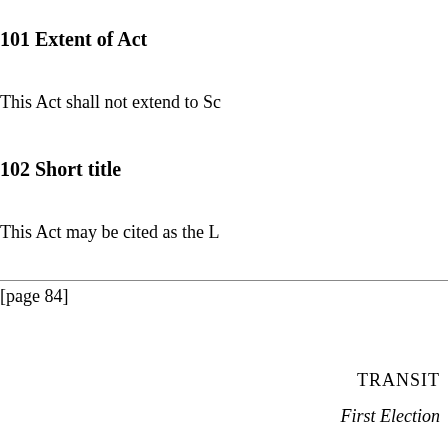101 Extent of Act
This Act shall not extend to Sc
102 Short title
This Act may be cited as the L
[page 84]
TRANSIT
First Election
103 First election of county c
(1) The first election of county officers shall be held in the month of January next, on a day in each county not earlier than... the returning officer for that county shall publish notice of such day... and the day so fixed shall be d